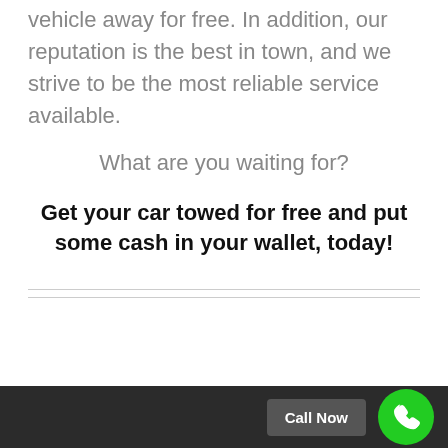vehicle away for free. In addition, our reputation is the best in town, and we strive to be the most reliable service available.
What are you waiting for?
Get your car towed for free and put some cash in your wallet, today!
Call Now